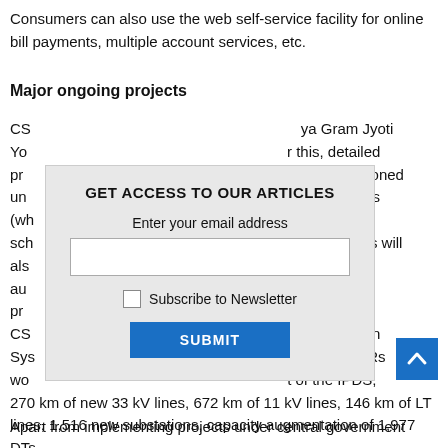Consumers can also use the web self-service facility for online bill payments, multiple account services, etc.
Major ongoing projects
CSPDCL is implementing the Deen Dayal Upadhyaya Gram Jyoti Yojana (DDUGJY) in rural areas of Chhattisgarh. For this, detailed project reports (DPRs) for 13 packages have been sanctioned under the DDUGJY scheme for electrification of unelectrified villages (where Rs 1,550 crore has been sanctioned under DDUGJY scheme), the discoms will also undertake capacity augmentation work of the distribution network under the programme and separate metering of agricultural 11 kV feeders. CSPDCL also plans to implement Integrated Power Distribution System (IPDS) in urban areas. Under the scheme, 15 DPRs worth Rs 2,049 crore have been submitted as part of the IPDS, 270 km of new 33 kV lines, 672 km of 11 kV lines, 146 km of LT lines, 1,516 new substations, capacity augmentation of 1,977 DTs and replacement of 2,996 km of bare conductors by LT AB cables are planned to be implemented.
Apart from implementing projects under central government